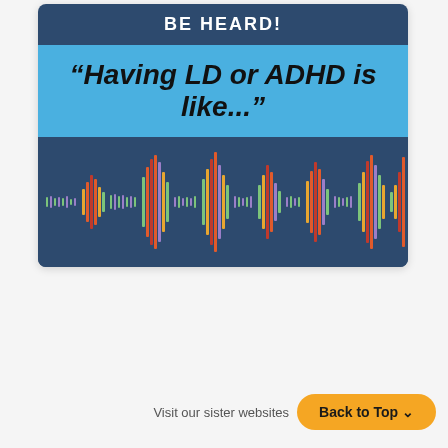BE HEARD!
“Having LD or ADHD is like...”
[Figure (infographic): Colorful audio waveform visualization on dark blue background, showing multiple colored vertical bars of varying heights representing an audio waveform pattern with colors including green, yellow, orange, red, purple, and teal.]
Visit our sister websites
Back to Top ∧